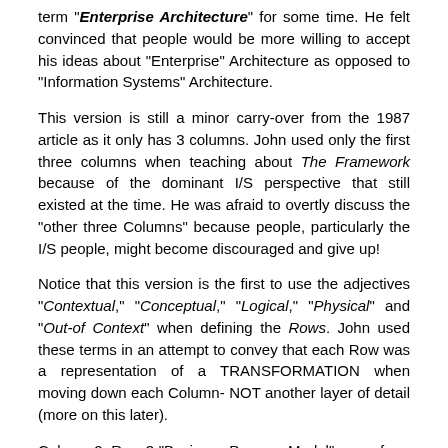term "Enterprise Architecture" for some time. He felt convinced that people would be more willing to accept his ideas about "Enterprise" Architecture as opposed to "Information Systems" Architecture.
This version is still a minor carry-over from the 1987 article as it only has 3 columns. John used only the first three columns when teaching about The Framework because of the dominant I/S perspective that still existed at the time. He was afraid to overtly discuss the "other three Columns" because people, particularly the I/S people, might become discouraged and give up!
Notice that this version is the first to use the adjectives "Contextual," "Conceptual," "Logical," "Physical" and "Out-of Context" when defining the Rows. John used these terms in an attempt to convey that each Row was a representation of a TRANSFORMATION when moving down each Column- NOT another layer of detail (more on this later).
Column 2, Row 3 "Business Process Model" came from the 1990 book. Re-engineering the Corporation which popularized the words "Business Process."
There were some minor problems with this Framework which